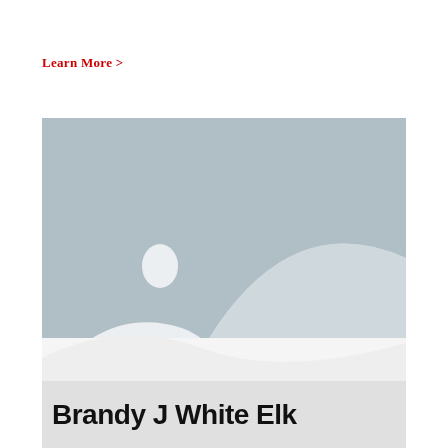Learn More >
[Figure (photo): Placeholder image with grey background, mountain silhouettes, and a small white oval representing a sun or moon]
Brandy J White Elk